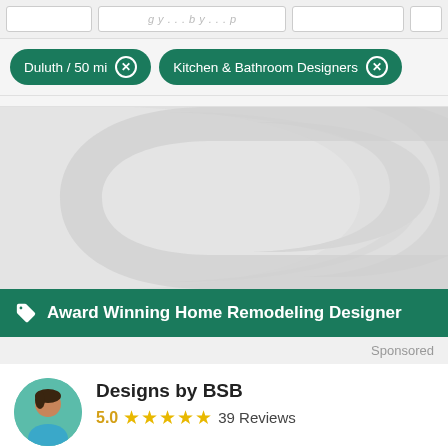[Figure (screenshot): Partial top row of a search results table with empty white cells on grey background]
Duluth / 50 mi ✕   Kitchen & Bathroom Designers ✕
[Figure (illustration): Grey advertisement banner with curved decorative C-shape graphic]
Award Winning Home Remodeling Designer
Sponsored
[Figure (photo): Circular avatar photo of a woman in a teal top]
Designs by BSB
5.0  ★★★★★  39 Reviews
29 Hires on Houzz   33 years in business